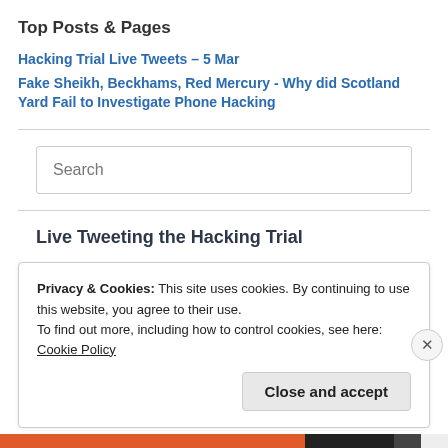Top Posts & Pages
Hacking Trial Live Tweets – 5 Mar
Fake Sheikh, Beckhams, Red Mercury - Why did Scotland Yard Fail to Investigate Phone Hacking
Search
Live Tweeting the Hacking Trial
Privacy & Cookies: This site uses cookies. By continuing to use this website, you agree to their use.
To find out more, including how to control cookies, see here: Cookie Policy
Close and accept